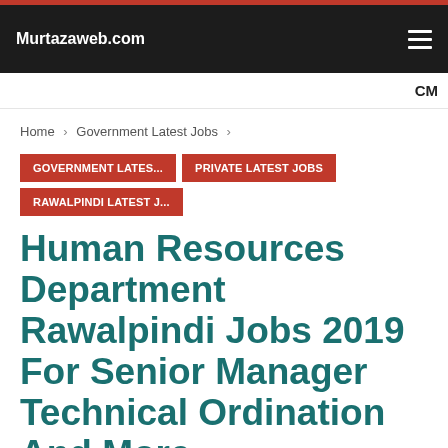Murtazaweb.com
CM
Home > Government Latest Jobs >
GOVERNMENT LATES...
PRIVATE LATEST JOBS
RAWALPINDI LATEST J...
Human Resources Department Rawalpindi Jobs 2019 For Senior Manager Technical Ordination And More